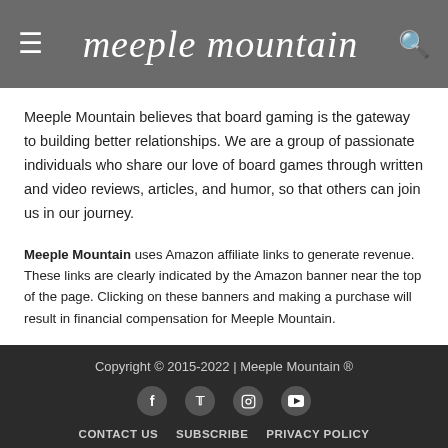meeple mountain
Meeple Mountain believes that board gaming is the gateway to building better relationships. We are a group of passionate individuals who share our love of board games through written and video reviews, articles, and humor, so that others can join us in our journey.
Meeple Mountain uses Amazon affiliate links to generate revenue. These links are clearly indicated by the Amazon banner near the top of the page. Clicking on these banners and making a purchase will result in financial compensation for Meeple Mountain.
Copyright © 2015-2022 | Meeple Mountain ®
CONTACT US  SUBSCRIBE  PRIVACY POLICY  DISCLAIMER  HOSTED BY WPMU